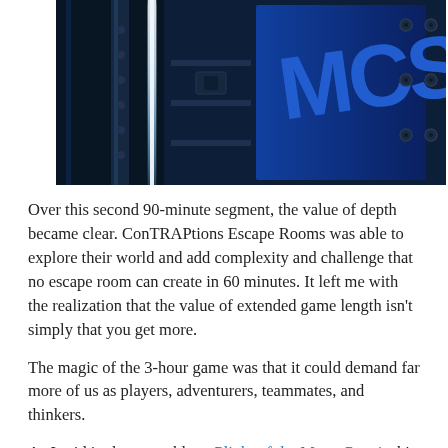[Figure (photo): Dark blue-lit interior scene with metallic industrial/sci-fi components, a bright neon-white vertical light strip, and partial letters 'MCS' or similar visible on a surface. Dramatic blue lighting with machine hardware details.]
Over this second 90-minute segment, the value of depth became clear. ConTRAPtions Escape Rooms was able to explore their world and add complexity and challenge that no escape room can create in 60 minutes. It left me with the realization that the value of extended game length isn't simply that you get more.
The magic of the 3-hour game was that it could demand far more of us as players, adventurers, teammates, and thinkers.
As I said in the preamble to Plight of the Muse, Part 1, this...